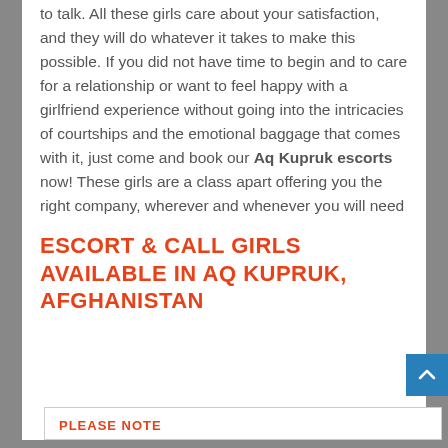to talk. All these girls care about your satisfaction, and they will do whatever it takes to make this possible. If you did not have time to begin and to care for a relationship or want to feel happy with a girlfriend experience without going into the intricacies of courtships and the emotional baggage that comes with it, just come and book our Aq Kupruk escorts now! These girls are a class apart offering you the right company, wherever and whenever you will need
ESCORT & CALL GIRLS AVAILABLE IN AQ KUPRUK, AFGHANISTAN
PLEASE NOTE